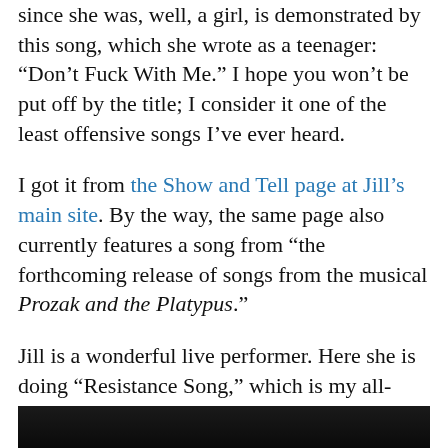since she was, well, a girl, is demonstrated by this song, which she wrote as a teenager: “Don’t Fuck With Me.” I hope you won’t be put off by the title; I consider it one of the least offensive songs I’ve ever heard.
I got it from the Show and Tell page at Jill’s main site. By the way, the same page also currently features a song from “the forthcoming release of songs from the musical Prozak and the Platypus.”
Jill is a wonderful live performer. Here she is doing “Resistance Song,” which is my all-time favorite song about reincarnation.
[Figure (photo): Bottom strip showing the top of a dark/black image, partially visible at the bottom of the page.]